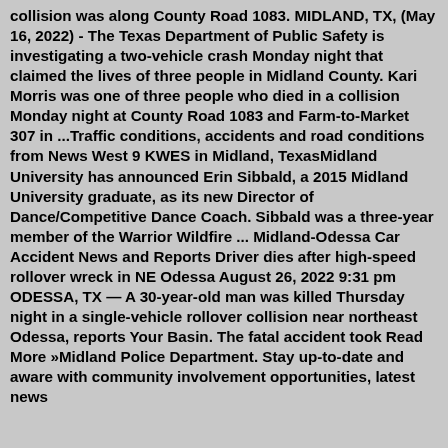collision was along County Road 1083. MIDLAND, TX, (May 16, 2022) - The Texas Department of Public Safety is investigating a two-vehicle crash Monday night that claimed the lives of three people in Midland County. Kari Morris was one of three people who died in a collision Monday night at County Road 1083 and Farm-to-Market 307 in ...Traffic conditions, accidents and road conditions from News West 9 KWES in Midland, TexasMidland University has announced Erin Sibbald, a 2015 Midland University graduate, as its new Director of Dance/Competitive Dance Coach. Sibbald was a three-year member of the Warrior Wildfire ... Midland-Odessa Car Accident News and Reports Driver dies after high-speed rollover wreck in NE Odessa August 26, 2022 9:31 pm ODESSA, TX — A 30-year-old man was killed Thursday night in a single-vehicle rollover collision near northeast Odessa, reports Your Basin. The fatal accident took Read More »Midland Police Department. Stay up-to-date and aware with community involvement opportunities, latest news